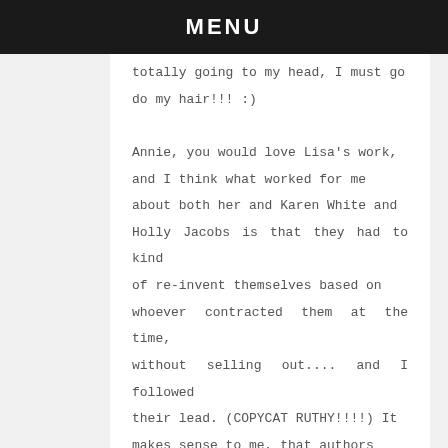MENU
totally going to my head, I must go do my hair!!! :)

Annie, you would love Lisa's work, and I think what worked for me about both her and Karen White and Holly Jacobs is that they had to kind of re-invent themselves based on whoever contracted them at the time, without selling out.... and I followed their lead. (COPYCAT RUTHY!!!!) It makes sense to me, that authors need to be able to produce for